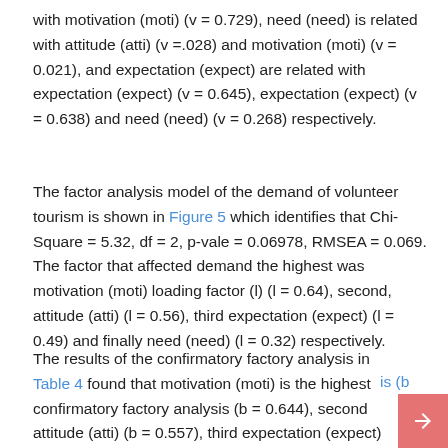with motivation (moti) (v = 0.729), need (need) is related with attitude (atti) (v =.028) and motivation (moti) (v = 0.021), and expectation (expect) are related with expectation (expect) (v = 0.645), expectation (expect) (v = 0.638) and need (need) (v = 0.268) respectively.
The factor analysis model of the demand of volunteer tourism is shown in Figure 5 which identifies that Chi-Square = 5.32, df = 2, p-vale = 0.06978, RMSEA = 0.069. The factor that affected demand the highest was motivation (moti) loading factor (l) (l = 0.64), second, attitude (atti) (l = 0.56), third expectation (expect) (l = 0.49) and finally need (need) (l = 0.32) respectively.
The results of the confirmatory factory analysis in Table 4 found that motivation (moti) is the highest confirmatory factory analysis (b = 0.644), second attitude (atti) (b = 0.557), third expectation (expect) (b = 0.492) and finally need